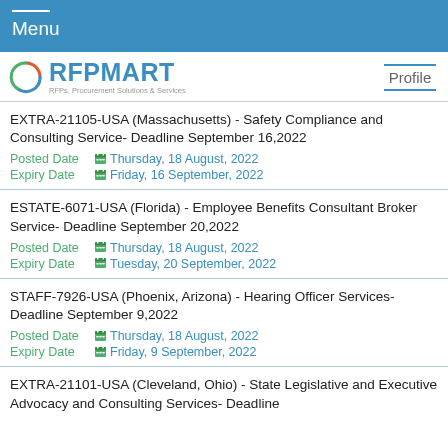Menu
[Figure (logo): RFPMART logo with tagline: RFPs, Procurement Solutions & Services, and Profile link]
EXTRA-21105-USA (Massachusetts) - Safety Compliance and Consulting Service- Deadline September 16,2022
Posted Date: Thursday, 18 August, 2022
Expiry Date: Friday, 16 September, 2022
ESTATE-6071-USA (Florida) - Employee Benefits Consultant Broker Service- Deadline September 20,2022
Posted Date: Thursday, 18 August, 2022
Expiry Date: Tuesday, 20 September, 2022
STAFF-7926-USA (Phoenix, Arizona) - Hearing Officer Services- Deadline September 9,2022
Posted Date: Thursday, 18 August, 2022
Expiry Date: Friday, 9 September, 2022
EXTRA-21101-USA (Cleveland, Ohio) - State Legislative and Executive Advocacy and Consulting Services- Deadline